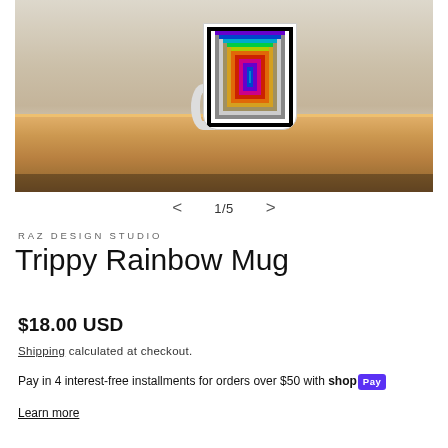[Figure (photo): White ceramic mug with trippy rainbow concentric rectangle design sitting on a wooden board/tray against a light background]
< 1/5 >
RAZ DESIGN STUDIO
Trippy Rainbow Mug
$18.00 USD
Shipping calculated at checkout.
Pay in 4 interest-free installments for orders over $50 with shop Pay
Learn more